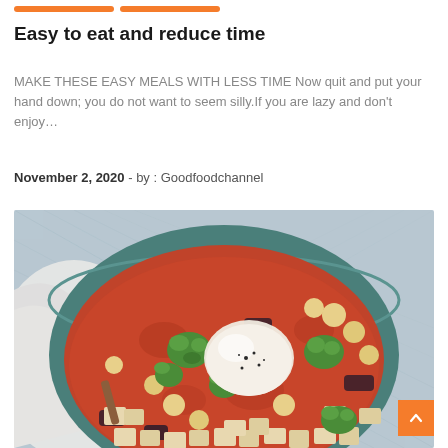Easy to eat and reduce time
MAKE THESE EASY MEALS WITH LESS TIME Now quit and put your hand down; you do not want to seem silly.If you are lazy and don't enjoy…
November 2, 2020  - by : Goodfoodchannel
[Figure (photo): A bowl of hearty vegetable and chickpea stew topped with green herb pesto, diced potatoes, a poached egg, and black pepper, served in a teal ceramic bowl on a blue textile surface with a white cloth napkin to the left.]